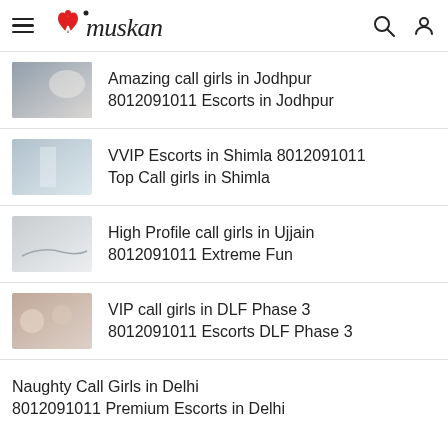Muskan
Amazing call girls in Jodhpur 8012091011 Escorts in Jodhpur
VVIP Escorts in Shimla 8012091011 Top Call girls in Shimla
High Profile call girls in Ujjain 8012091011 Extreme Fun
VIP call girls in DLF Phase 3 8012091011 Escorts DLF Phase 3
Naughty Call Girls in Delhi 8012091011 Premium Escorts in Delhi